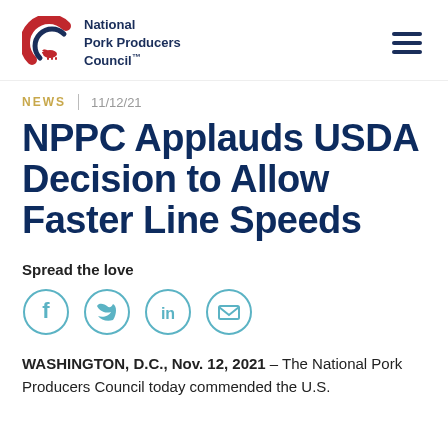[Figure (logo): National Pork Producers Council logo with red and blue circular graphic and text]
NEWS | 11/12/21
NPPC Applauds USDA Decision to Allow Faster Line Speeds
Spread the love
[Figure (infographic): Social sharing icons: Facebook, Twitter, LinkedIn, Email — each in a circle outline]
WASHINGTON, D.C., Nov. 12, 2021 – The National Pork Producers Council today commended the U.S. Department of Agriculture for allowing faster...